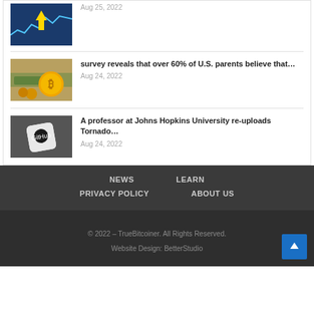[Figure (photo): Cryptocurrency stock chart with a downward yellow arrow over a blue line graph]
Aug 25, 2022
survey reveals that over 60% of U.S. parents believe that…
[Figure (photo): Bitcoin gold coins with US dollar bills in background]
Aug 24, 2022
A professor at Johns Hopkins University re-uploads Tornado…
[Figure (photo): GitHub logo dice on dark background]
Aug 24, 2022
NEWS   LEARN   PRIVACY POLICY   ABOUT US
© 2022 – TrueBitcoiner. All Rights Reserved.
Website Design: BetterStudio